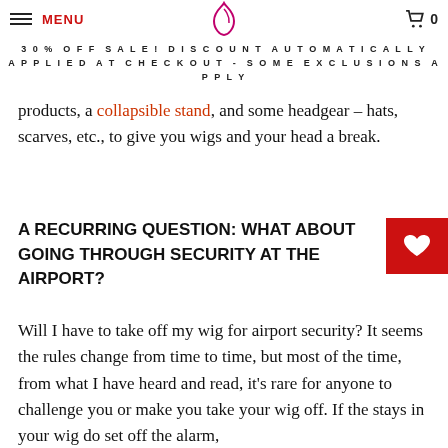MENU | [logo] | 0
30% OFF SALE! DISCOUNT AUTOMATICALLY APPLIED AT CHECKOUT - SOME EXCLUSIONS APPLY
products, a collapsible stand, and some headgear – hats, scarves, etc., to give you wigs and your head a break.
A RECURRING QUESTION: WHAT ABOUT GOING THROUGH SECURITY AT THE AIRPORT?
Will I have to take off my wig for airport security? It seems the rules change from time to time, but most of the time, from what I have heard and read, it's rare for anyone to challenge you or make you take your wig off. If the stays in your wig do set off the alarm,